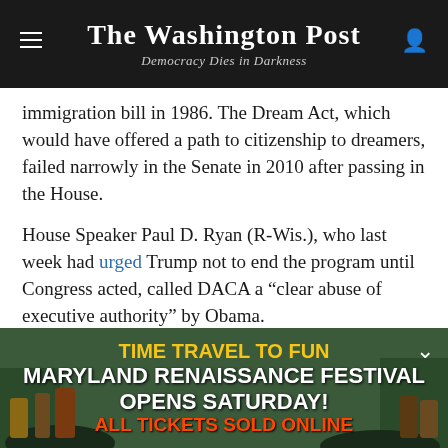The Washington Post — Democracy Dies in Darkness
immigration bill in 1986. The Dream Act, which would have offered a path to citizenship to dreamers, failed narrowly in the Senate in 2010 after passing in the House.
House Speaker Paul D. Ryan (R-Wis.), who last week had urged Trump not to end the program until Congress acted, called DACA a “clear abuse of executive authority” by Obama.
[Figure (photo): Advertisement banner for Maryland Renaissance Festival featuring costumed performers in a forested festival setting. Text reads: TIME TRAVEL TO FUN / MARYLAND RENAISSANCE FESTIVAL OPENS SATURDAY! / ALL TICKETS SOLD ONLINE]